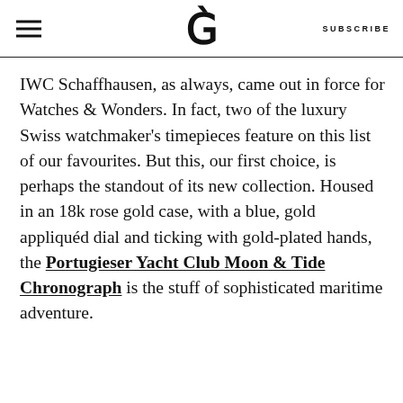≡  G  SUBSCRIBE
IWC Schaffhausen, as always, came out in force for Watches & Wonders. In fact, two of the luxury Swiss watchmaker's timepieces feature on this list of our favourites. But this, our first choice, is perhaps the standout of its new collection. Housed in an 18k rose gold case, with a blue, gold appliquéd dial and ticking with gold-plated hands, the Portugieser Yacht Club Moon & Tide Chronograph is the stuff of sophisticated maritime adventure.